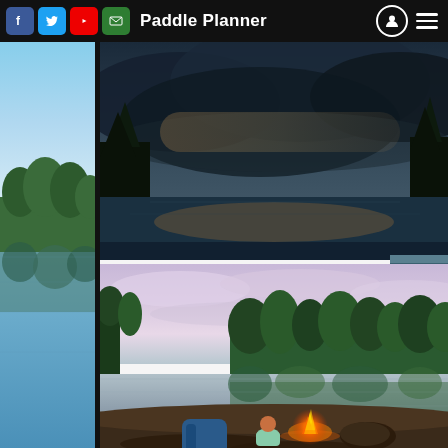Paddle Planner
[Figure (photo): Narrow vertical strip showing a calm lake with blue sky and forest treeline reflected in still water, dusk lighting — left sidebar]
[Figure (photo): Landscape photo of dark stormy clouds over a forest and lake, dramatic dark sky with trees in foreground]
[Figure (photo): Small thumbnail of a lake scene between the two main photos]
[Figure (photo): A child sitting by a campfire on the shore of a still lake at dusk, with a blue backpack beside them, forest reflected in calm water, pink-purple sky]